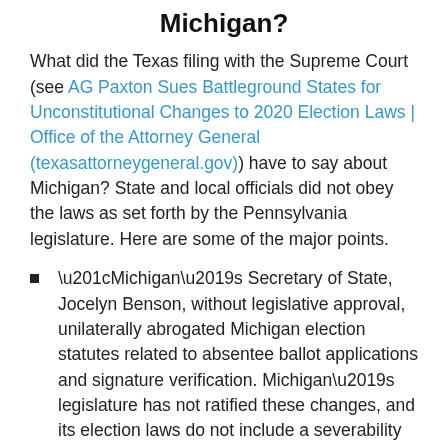Michigan?
What did the Texas filing with the Supreme Court (see AG Paxton Sues Battleground States for Unconstitutional Changes to 2020 Election Laws | Office of the Attorney General (texasattorneygeneral.gov)) have to say about Michigan? State and local officials did not obey the laws as set forth by the Pennsylvania legislature. Here are some of the major points.
“Michigan’s Secretary of State, Jocelyn Benson, without legislative approval, unilaterally abrogated Michigan election statutes related to absentee ballot applications and signature verification. Michigan’s legislature has not ratified these changes, and its election laws do not include a severability clause.”
“As amended in 2018, the Michigan Constitution